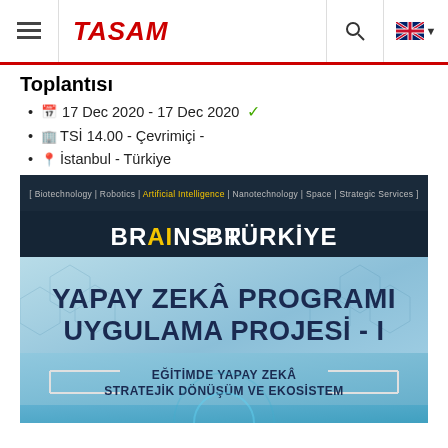TASAM
Toplantısı
17 Dec 2020 - 17 Dec 2020 ✓
TSİ 14.00 - Çevrimiçi -
İstanbul - Türkiye
[Figure (illustration): BRAINS² TÜRKİYE banner image for the Yapay Zekâ Programı Uygulama Projesi - I event, featuring sections: Biotechnology | Robotics | Artificial Intelligence | Nanotechnology | Space | Strategic Services, large bold text YAPAY ZEKÂ PROGRAMI UYGULAMA PROJESİ - I, and subtitle EĞİTİMDE YAPAY ZEKÂ STRATEJİK DÖNÜŞÜM VE EKOSİSTEM, with hexagon and technology visuals in blue tones.]